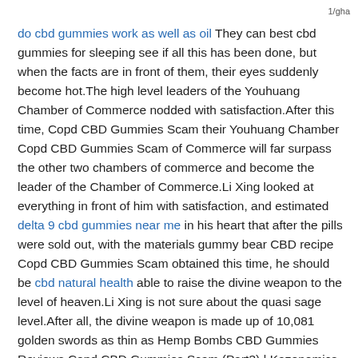1/gha
do cbd gummies work as well as oil They can best cbd gummies for sleeping see if all this has been done, but when the facts are in front of them, their eyes suddenly become hot.The high level leaders of the Youhuang Chamber of Commerce nodded with satisfaction.After this time, Copd CBD Gummies Scam their Youhuang Chamber Copd CBD Gummies Scam of Commerce will far surpass the other two chambers of commerce and become the leader of the Chamber of Commerce.Li Xing looked at everything in front of him with satisfaction, and estimated delta 9 cbd gummies near me in his heart that after the pills were sold out, with the materials gummy bear CBD recipe Copd CBD Gummies Scam obtained this time, he should be cbd natural health able to raise the divine weapon to the level of heaven.Li Xing is not sure about the quasi sage level.After all, the divine weapon is made up of 10,081 golden swords as thin as Hemp Bombs CBD Gummies Reviews Copd CBD Gummies Scam (Part3) | Kazonomics cicada wings.If you want to upgrade all 10,081 to the holy level, Li Xing estimates that he will sell 30 pills.